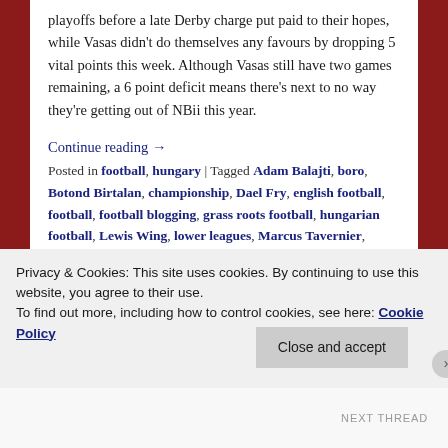playoffs before a late Derby charge put paid to their hopes, while Vasas didn't do themselves any favours by dropping 5 vital points this week. Although Vasas still have two games remaining, a 6 point deficit means there's next to no way they're getting out of NBii this year.
Continue reading →
Posted in football, hungary | Tagged Adam Balajti, boro, Botond Birtalan, championship, Dael Fry, english football, football, football blogging, grass roots football, hungarian football, Lewis Wing, lower leagues, Marcus Tavernier, middlesbrough, Middlesbrough FC, NBii, vasas, Vasas FC | Leave a reply
Privacy & Cookies: This site uses cookies. By continuing to use this website, you agree to their use.
To find out more, including how to control cookies, see here: Cookie Policy
Close and accept